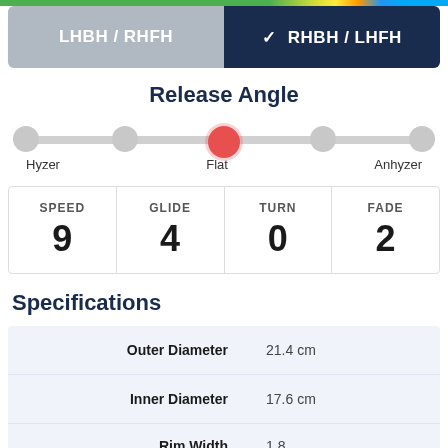[Figure (infographic): Color gradient top bar (green to blue)]
LHBH / RHFH | ✓ RHBH / LHFH toggle selector, RHBH/LHFH selected
Release Angle
[Figure (infographic): Slider showing release angle from Hyzer to Anhyzer with Flat selected (center, red dot)]
| SPEED | GLIDE | TURN | FADE |
| --- | --- | --- | --- |
| 9 | 4 | 0 | 2 |
Specifications
| Specification | Value |
| --- | --- |
| Outer Diameter | 21.4 cm |
| Inner Diameter | 17.6 cm |
| Rim Width | 1.8... |